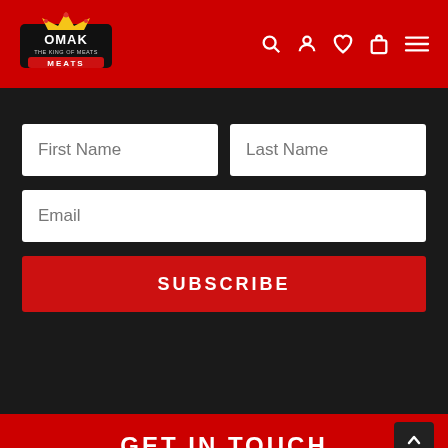Omak The King of Meats — navigation header with logo and icons
[Figure (screenshot): Omak Meats logo: crown with OMAK text and THE KING OF MEATS banner, with MEATS in red ribbon below]
First Name
Last Name
Email
SUBSCRIBE
GET IN TOUCH